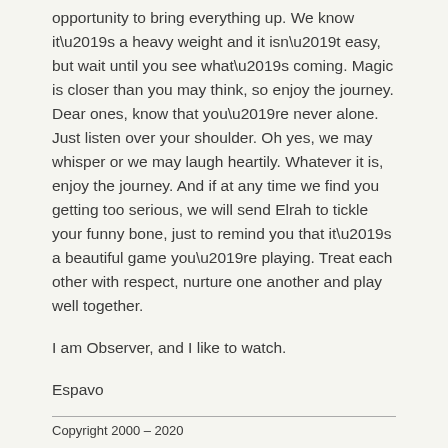opportunity to bring everything up. We know it’s a heavy weight and it isn’t easy, but wait until you see what’s coming. Magic is closer than you may think, so enjoy the journey. Dear ones, know that you’re never alone. Just listen over your shoulder. Oh yes, we may whisper or we may laugh heartily. Whatever it is, enjoy the journey. And if at any time we find you getting too serious, we will send Elrah to tickle your funny bone, just to remind you that it’s a beautiful game you’re playing. Treat each other with respect, nurture one another and play well together.
I am Observer, and I like to watch.
Espavo
Copyright 2000 – 2020